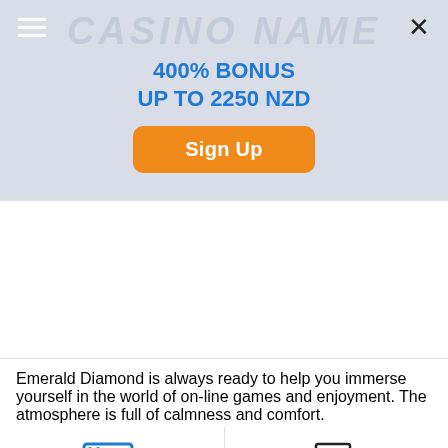[Figure (screenshot): Casino website banner with bonus offer, hamburger menu icon, close button, blue bonus text '400% BONUS UP TO 2250 NZD', and orange Sign Up button]
400% BONUS UP TO 2250 NZD
Sign Up
[Figure (infographic): Two navigation tabs: SCREENSHOTS (selected, with blue underline) and SLOT DETAILS, each with an icon above the label]
Emerald Diamond is always ready to help you immerse yourself in the world of on-line games and enjoyment. The atmosphere is full of calmness and comfort.